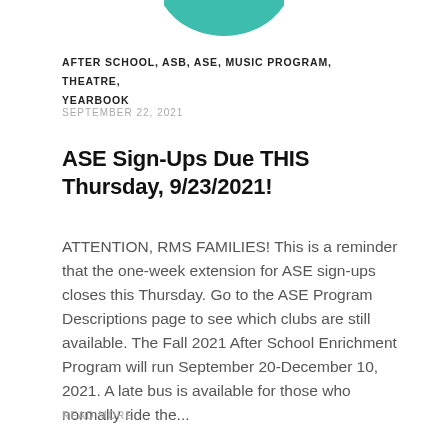[Figure (illustration): Partial teal/green circular arc shape at the top center of the page, partially cropped]
AFTER SCHOOL, ASB, ASE, MUSIC PROGRAM, THEATRE, YEARBOOK
SEPTEMBER 22, 2021
ASE Sign-Ups Due THIS Thursday, 9/23/2021!
ATTENTION, RMS FAMILIES! This is a reminder that the one-week extension for ASE sign-ups closes this Thursday. Go to the ASE Program Descriptions page to see which clubs are still available. The Fall 2021 After School Enrichment Program will run September 20-December 10, 2021. A late bus is available for those who normally ride the...
READ MORE